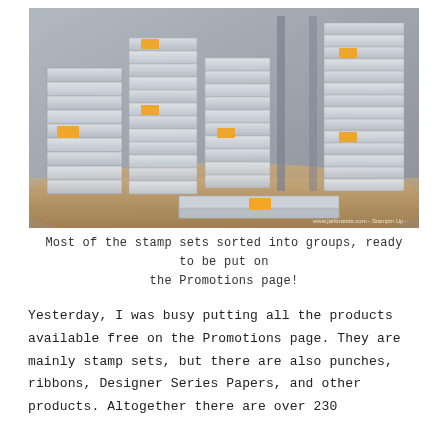[Figure (photo): Large photograph showing many stacked clear plastic stamp set containers arranged in tall stacks on a table, with orange sticky notes on some containers. There is a watermark in the bottom right corner reading 'www.jaribrands.com - Stampin Up -']
Most of the stamp sets sorted into groups, ready to be put on the Promotions page!
Yesterday, I was busy putting all the products available free on the Promotions page. They are mainly stamp sets, but there are also punches, ribbons, Designer Series Papers, and other products. Altogether there are over 230